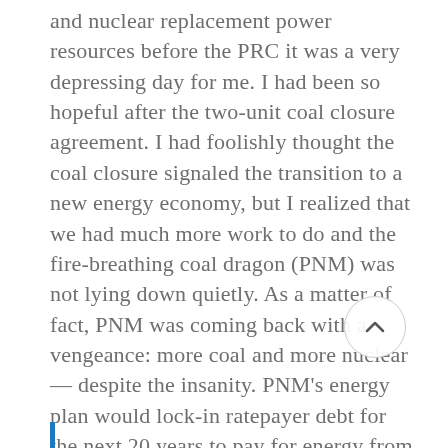and nuclear replacement power resources before the PRC it was a very depressing day for me. I had been so hopeful after the two-unit coal closure agreement. I had foolishly thought the coal closure signaled the transition to a new energy economy, but I realized that we had much more work to do and the fire-breathing coal dragon (PNM) was not lying down quietly. As a matter of fact, PNM was coming back with a vengeance: more coal and more nuclear— despite the insanity. PNM's energy plan would lock-in ratepayer debt for the next 20 years to pay for energy from PNM's own antiquated coal and nuclear plants to the tune of seven billion dollars.